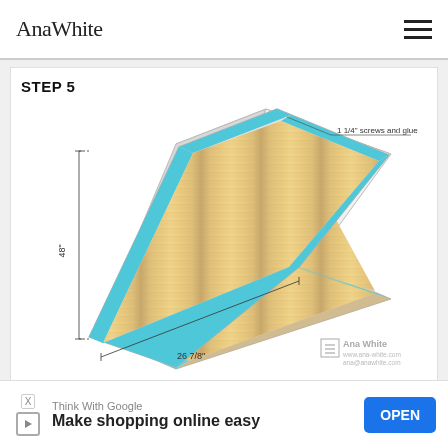Ana White
STEP 5
[Figure (engineering-diagram): Isometric woodworking diagram showing a rectangular board panel with blue edge trim/rails on all four sides. Dimension lines indicate 48" length on the left side and 26 7/8" width on the bottom. A callout label reads '1 1/4" screws and glue' pointing to the upper right corner. The panel has a wood-grain texture in tan/light brown. Ana White watermark in lower right.]
Think With Google
Make shopping online easy